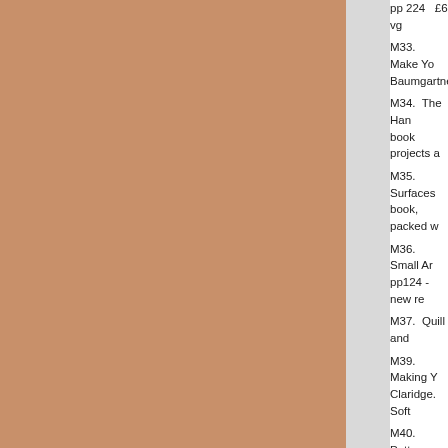pp 224   £6 vg
M33.  Make Yo... Baumgartner.
M34.  The Han... book projects a
M35.  Surfaces... book, packed w
M36.  Small Ar... pp124 - new re
M37.  Quill and
M39.  Making Y... Claridge.  Soft
M40.  Pattern a... full of exercise
M41.  Rustic W... edition of the "
M42.  Dear Ja... Softback pp16
M43.  Art Quilt
Ml 1.  William